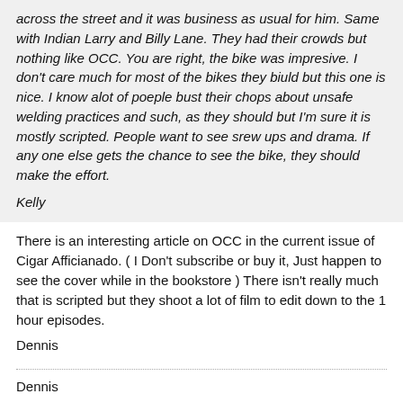across the street and it was business as usual for him. Same with Indian Larry and Billy Lane. They had their crowds but nothing like OCC. You are right, the bike was impresive. I don't care much for most of the bikes they biuld but this one is nice. I know alot of poeple bust their chops about unsafe welding practices and such, as they should but I'm sure it is mostly scripted. People want to see srew ups and drama. If any one else gets the chance to see the bike, they should make the effort.
Kelly
There is an interesting article on OCC in the current issue of Cigar Afficianado. ( I Don't subscribe or buy it, Just happen to see the cover while in the bookstore ) There isn't really much that is scripted but they shoot a lot of film to edit down to the 1 hour episodes.
Dennis
Dennis
Thermal Arc 185-TSW
Millermatic Challenger 172
VictorO/A
Atlas Craftsman 12 by 24 Lathe